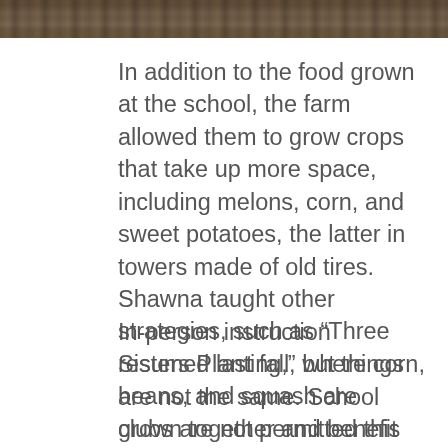[Figure (photo): Partial photo strip at top of page showing soil/ground texture in earthy brown tones]
In addition to the food grown at the school, the farm allowed them to grow crops that take up more space, including melons, corn, and sweet potatoes, the latter in towers made of old tires. Shawna taught other strategies, such as “Three Sisters Planting,” where corn, beans, and squash are grown together and benefit each other.
In-person instruction resumed last fall, but things are not the same. School clubs are not permitted this year, so Shawna’s class and other